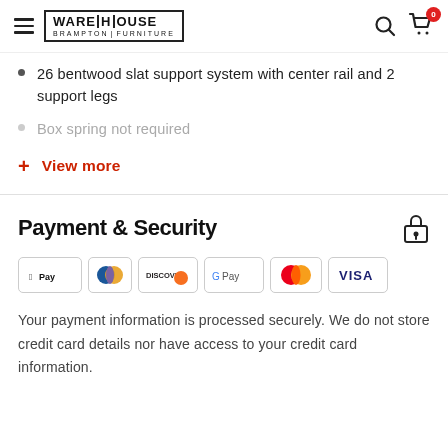Warehouse Brampton Furniture — navigation header with hamburger, logo, search, and cart icons
26 bentwood slat support system with center rail and 2 support legs
Box spring not required
+ View more
Payment & Security
[Figure (logo): Payment method logos: Apple Pay, Diners Club, Discover, Google Pay, Mastercard, Visa]
Your payment information is processed securely. We do not store credit card details nor have access to your credit card information.